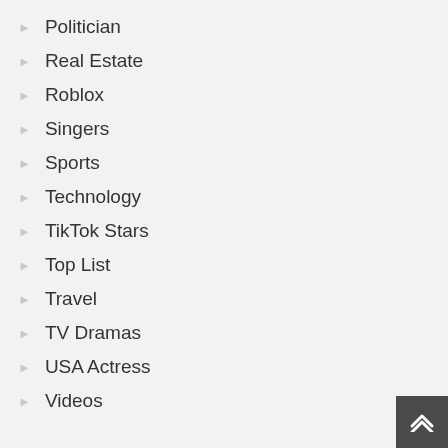Politician
Real Estate
Roblox
Singers
Sports
Technology
TikTok Stars
Top List
Travel
TV Dramas
USA Actress
Videos